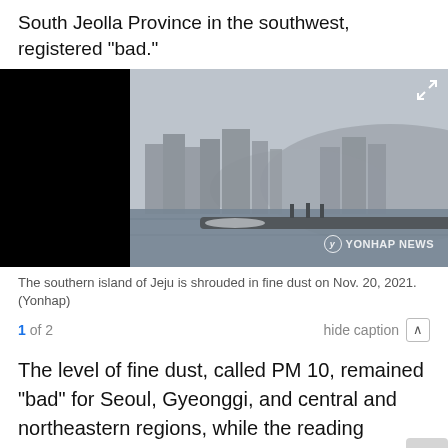South Jeolla Province in the southwest, registered "bad."
[Figure (photo): A hazy cityscape of Jeju island seen from the water, with buildings and a mountain shrouded in fine dust. People stand on a breakwater in the foreground. Yonhap News watermark in bottom right.]
The southern island of Jeju is shrouded in fine dust on Nov. 20, 2021. (Yonhap)
1 of 2    hide caption ∧
The level of fine dust, called PM 10, remained "bad" for Seoul, Gyeonggi, and central and northeastern regions, while the reading elsewhere was "average."